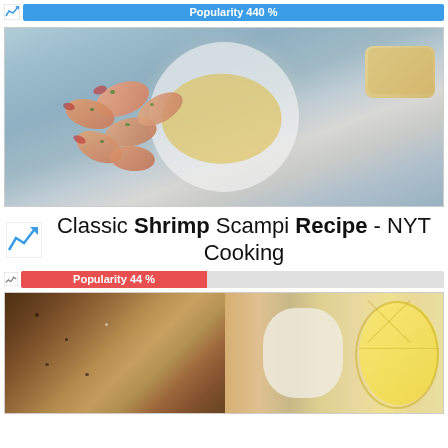[Figure (infographic): Popularity bar showing 440% with blue fill and icon]
[Figure (photo): Photo of Classic Shrimp Scampi in a white bowl with garlic butter sauce, parsley, and bread]
Classic Shrimp Scampi Recipe - NYT Cooking
[Figure (infographic): Popularity bar showing 44% with red/pink fill and icon]
[Figure (photo): Photo of baked fish with lemon slices and seasoning]